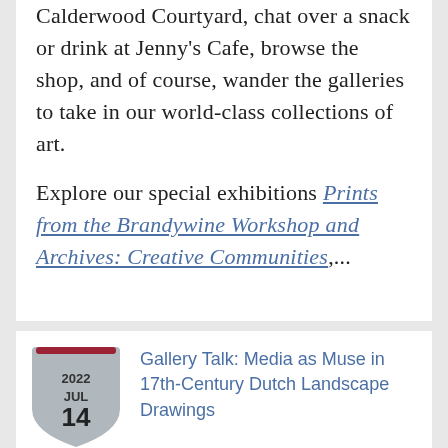Calderwood Courtyard, chat over a snack or drink at Jenny's Cafe, browse the shop, and of course, wander the galleries to take in our world-class collections of art.

Explore our special exhibitions Prints from the Brandywine Workshop and Archives: Creative Communities,...
Gallery Talk: Media as Muse in 17th-Century Dutch Landscape Drawings